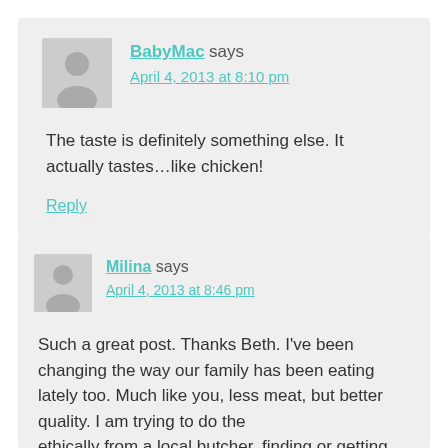BabyMac says April 4, 2013 at 8:10 pm
The taste is definitely something else. It actually tastes…like chicken!
Reply
Milina says April 4, 2013 at 8:46 pm
Such a great post. Thanks Beth. I've been changing the way our family has been eating lately too. Much like you, less meat, but better quality. I am trying to do the ethically from a local butcher finding or getting...